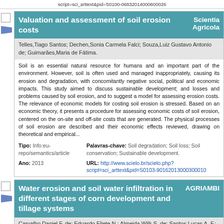script=sci_arttext&pid=S0100-06832014000600026
Valuation and assessment of soil erosion costs
Scientia Agricola
Telles,Tiago Santos; Dechen,Sonia Carmela Falci; Souza,Luiz Gustavo Antonio de; Guimarães,Maria de Fátima.
Soil is an essential natural resource for humans and an important part of the environment. However, soil is often used and managed inappropriately, causing its erosion and degradation, with concomitantly negative social, political and economic impacts. This study aimed to discuss sustainable development; and losses and problems caused by soil erosion, and to suggest a model for assessing erosion costs. The relevance of economic models for costing soil erosion is stressed. Based on an economic theory, it presents a procedure for assessing economic costs of soil erosion, centered on the on-site and off-site costs that are generated. The physical processes of soil erosion are described and their economic effects reviewed, drawing on theoretical and empirical...
Tipo: Info:eu-repo/semantics/article
Palavras-chave: Soil degradation; Soil loss; Soil conservation; Sustainable development.
Ano: 2013
URL: http://www.scielo.br/scielo.php?script=sci_arttext&pid=S0103-90162013000300010
Water erosion and soil water infiltration in different stages of corn development and tillage systems
AGRIAMBI
Carvalho,Daniel F. de; Eduardo,Eliete N.; Almeida,Wilk S. de; Santos,Lucas A. F.; Alves Sobrinho,Teodorico.
ABSTRACTThis study evaluated soil and water losses, soil water infiltration and infiltration rate models in soil tillage systems and corn (Zea mays, L.